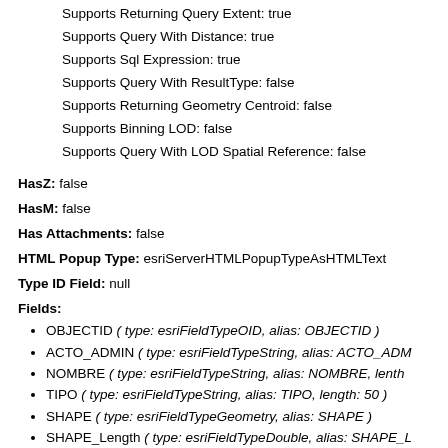Supports Returning Query Extent: true
Supports Query With Distance: true
Supports Sql Expression: true
Supports Query With ResultType: false
Supports Returning Geometry Centroid: false
Supports Binning LOD: false
Supports Query With LOD Spatial Reference: false
HasZ: false
HasM: false
Has Attachments: false
HTML Popup Type: esriServerHTMLPopupTypeAsHTMLText
Type ID Field: null
Fields:
OBJECTID ( type: esriFieldTypeOID, alias: OBJECTID )
ACTO_ADMIN ( type: esriFieldTypeString, alias: ACTO_ADM...
NOMBRE ( type: esriFieldTypeString, alias: NOMBRE, lenth...
TIPO ( type: esriFieldTypeString, alias: TIPO, length: 50 )
SHAPE ( type: esriFieldTypeGeometry, alias: SHAPE )
SHAPE_Length ( type: esriFieldTypeDouble, alias: SHAPE_L...